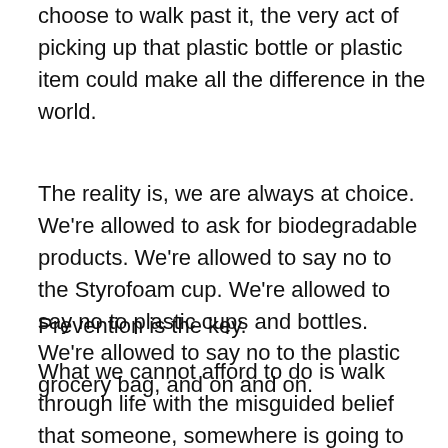choose to walk past it, the very act of picking up that plastic bottle or plastic item could make all the difference in the world.
The reality is, we are always at choice. We're allowed to ask for biodegradable products. We're allowed to say no to the Styrofoam cup. We're allowed to say no to plastic cups and bottles. We're allowed to say no to the plastic grocery bag, and on and on.
Prevention is the key.
What we cannot afford to do is walk through life with the misguided belief that someone, somewhere is going to figure it all out and that someone other than our self is going to save the planet. It is all of us making better choices that will create a much better future for our children.